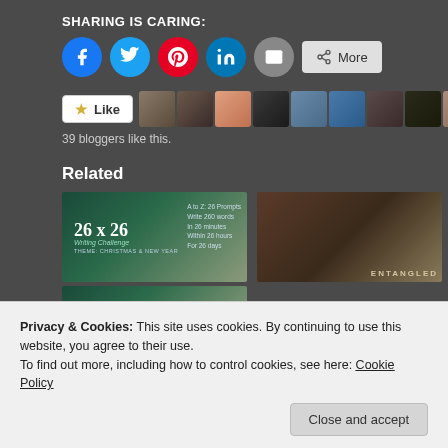SHARING IS CARING:
[Figure (other): Social sharing buttons: Facebook, Twitter, Pinterest, LinkedIn, Email, More]
[Figure (other): Like button with star icon followed by 9 blogger avatar thumbnails]
39 bloggers like this.
Related
[Figure (other): 26x26 Writing Challenge image with dark green background, Christmas & New Year theme]
[Figure (other): Entangled - sepia toned image with text ENTANGLED]
[Figure (other): 26x26 Writing Challenge thumbnail at bottom]
Privacy & Cookies: This site uses cookies. By continuing to use this website, you agree to their use.
To find out more, including how to control cookies, see here: Cookie Policy